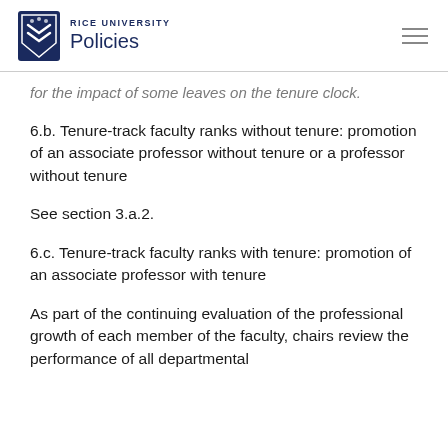RICE UNIVERSITY Policies
for the impact of some leaves on the tenure clock.
6.b. Tenure-track faculty ranks without tenure: promotion of an associate professor without tenure or a professor without tenure
See section 3.a.2.
6.c. Tenure-track faculty ranks with tenure: promotion of an associate professor with tenure
As part of the continuing evaluation of the professional growth of each member of the faculty, chairs review the performance of all departmental